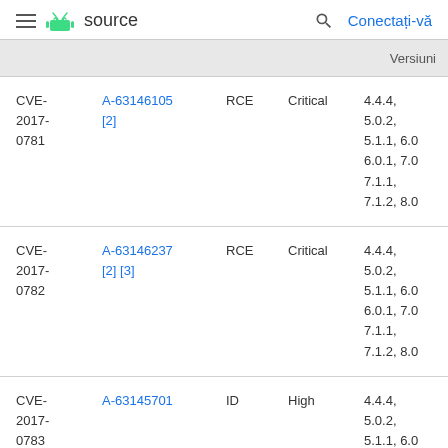≡  🤖 source    🔍  Conectați-vă
| CVE | References | Type | Severity | Updated Android versions |
| --- | --- | --- | --- | --- |
| CVE-2017-0781 | A-63146105 [2] | RCE | Critical | 4.4.4, 5.0.2, 5.1.1, 6.0 6.0.1, 7.0 7.1.1, 7.1.2, 8.0 |
| CVE-2017-0782 | A-63146237 [2] [3] | RCE | Critical | 4.4.4, 5.0.2, 5.1.1, 6.0 6.0.1, 7.0 7.1.1, 7.1.2, 8.0 |
| CVE-2017-0783 | A-63145701 | ID | High | 4.4.4, 5.0.2, 5.1.1, 6.0 |